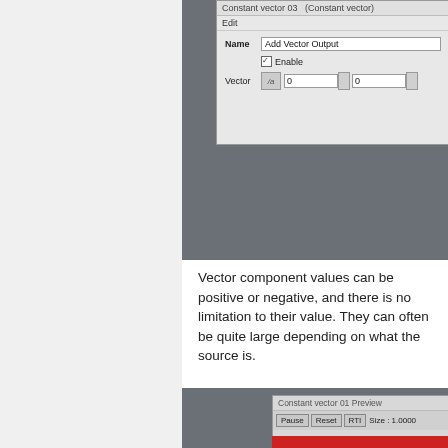[Figure (screenshot): Software UI dialog showing 'Constant vector 03 (Constant vector)' with Edit menu, Name field set to 'Add Vector Output', Enable checkbox checked, and Vector field with value 0, 0 on dark gray background]
Vector component values can be positive or negative, and there is no limitation to their value. They can often be quite large depending on what the source is.
[Figure (screenshot): Software preview dialog labeled 'Constant vector 01 Preview' with Pause, Reset, RTI buttons and Size: 1.0000 display, with red bar below, on dark gray background]